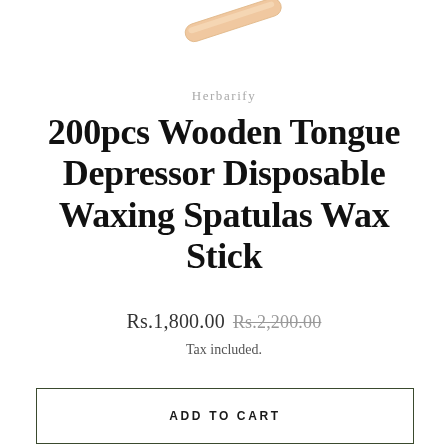[Figure (photo): Partial view of a wooden tongue depressor / waxing spatula stick, shown diagonally at the top of the page, with a light beige/skin color.]
Herbarify
200pcs Wooden Tongue Depressor Disposable Waxing Spatulas Wax Stick
Rs.1,800.00  Rs.2,200.00
Tax included.
ADD TO CART